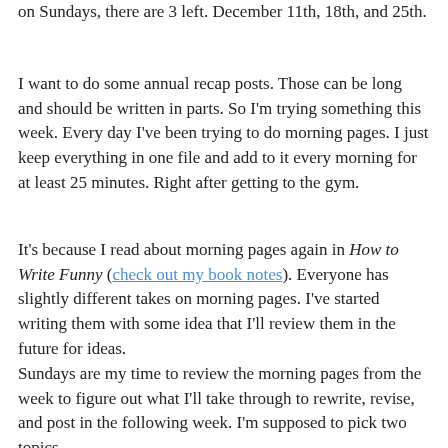on Sundays, there are 3 left. December 11th, 18th, and 25th.
I want to do some annual recap posts. Those can be long and should be written in parts. So I'm trying something this week. Every day I've been trying to do morning pages. I just keep everything in one file and add to it every morning for at least 25 minutes. Right after getting to the gym.
It's because I read about morning pages again in How to Write Funny (check out my book notes). Everyone has slightly different takes on morning pages. I've started writing them with some idea that I'll review them in the future for ideas.
Sundays are my time to review the morning pages from the week to figure out what I'll take through to rewrite, revise, and post in the following week. I'm supposed to pick two topics.